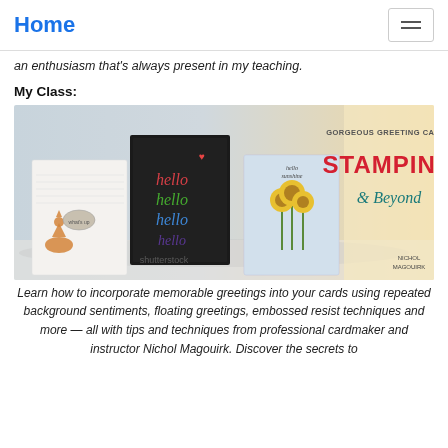Home
an enthusiasm that's always present in my teaching.
My Class:
[Figure (photo): Promotional banner for online class 'Gorgeous Greeting Cards Stamping & Beyond' by Nichol Magouirk. Shows handmade greeting cards with stamped designs including a fox, flowers, and 'hello' watercolor lettering, alongside the class title text.]
Learn how to incorporate memorable greetings into your cards using repeated background sentiments, floating greetings, embossed resist techniques and more — all with tips and techniques from professional cardmaker and instructor Nichol Magouirk. Discover the secrets to